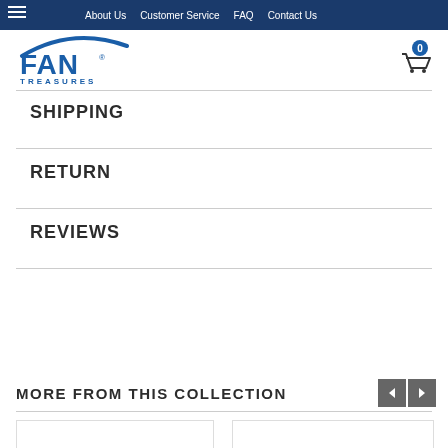About Us | Customer Service | FAQ | Contact Us
[Figure (logo): Fan Treasures logo — stylized arc above FAN TREASURES text in blue]
SHIPPING
RETURN
REVIEWS
MORE FROM THIS COLLECTION